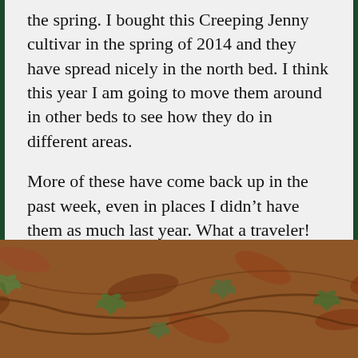the spring. I bought this Creeping Jenny cultivar in the spring of 2014 and they have spread nicely in the north bed. I think this year I am going to move them around in other beds to see how they do in different areas.
More of these have come back up in the past week, even in places I didn't have them as much last year. What a traveler!
[Figure (photo): Close-up photograph of creeping plants with small leaves on a ground covered with brown dried leaves and stems, showing garden ground cover.]